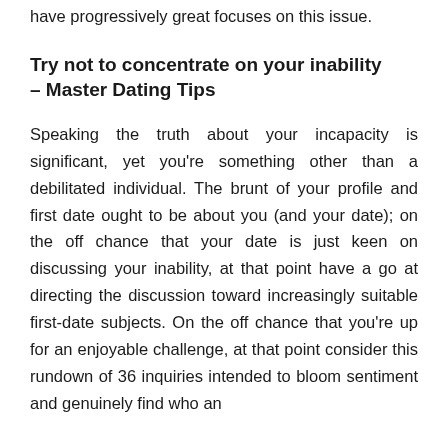have progressively great focuses on this issue.
Try not to concentrate on your inability – Master Dating Tips
Speaking the truth about your incapacity is significant, yet you're something other than a debilitated individual. The brunt of your profile and first date ought to be about you (and your date); on the off chance that your date is just keen on discussing your inability, at that point have a go at directing the discussion toward increasingly suitable first-date subjects. On the off chance that you're up for an enjoyable challenge, at that point consider this rundown of 36 inquiries intended to bloom sentiment and genuinely find who an